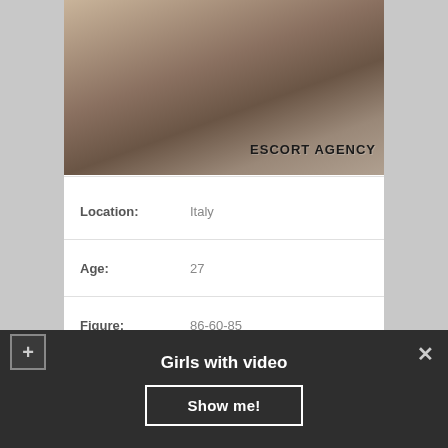[Figure (photo): Escort agency profile photo with watermark text 'ESCORT AGENCY']
| Location: | Italy |
| Age: | 27 |
| Figure: | 86-60-85 |
| Weight: | 46 |
| Available: | 10:00 – 22:00 |
Girls with video
Show me!